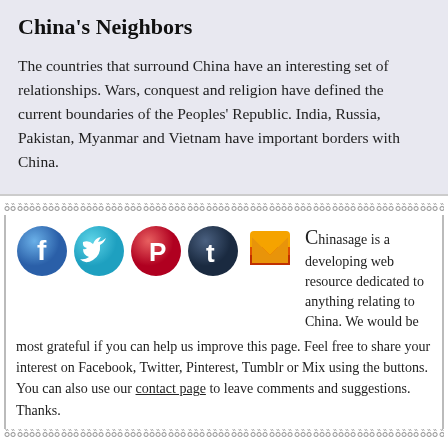China's Neighbors
The countries that surround China have an interesting set of relationships. Wars, conquest and religion have defined the current boundaries of the Peoples' Republic. India, Russia, Pakistan, Myanmar and Vietnam have important borders with China.
[Figure (illustration): Social media icons: Facebook (blue circle with f), Twitter (cyan circle with bird), Pinterest (red circle with P), Tumblr (dark circle with t), Mix (orange/red M logo)]
Chinasage is a developing web resource dedicated to anything relating to China. We would be most grateful if you can help us improve this page. Feel free to share your interest on Facebook, Twitter, Pinterest, Tumblr or Mix using the buttons. You can also use our contact page to leave comments and suggestions. Thanks.
Copyright © Chinasage 2012 to 2022